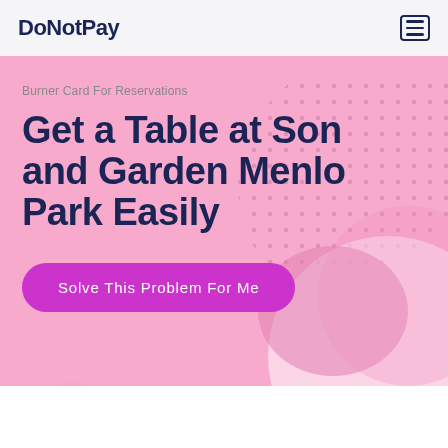DoNotPay
Burner Card For Reservations
Get a Table at Son and Garden Menlo Park Easily
Solve This Problem For Me